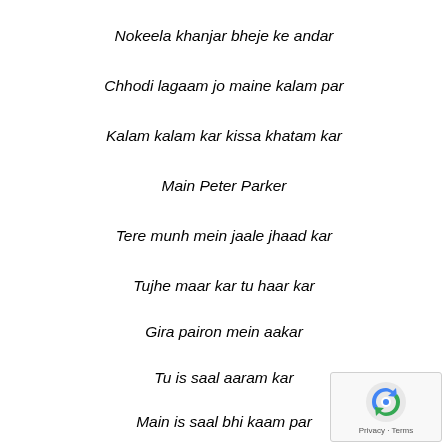Nokeela khanjar bheje ke andar
Chhodi lagaam jo maine kalam par
Kalam kalam kar kissa khatam kar
Main Peter Parker
Tere munh mein jaale jhaad kar
Tujhe maar kar tu haar kar
Gira pairon mein aakar
Tu is saal aaram kar
Main is saal bhi kaam par